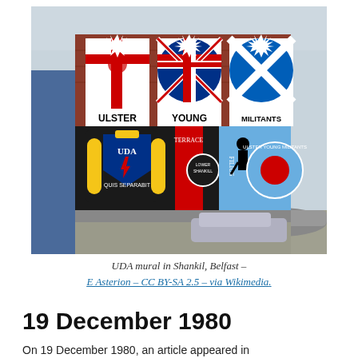[Figure (photo): Photograph of a brick building in Shankill, Belfast with UDA (Ulster Defence Association) murals. Three arched sections painted with flags: Ulster flag (red hand cross), British Union Jack, and Scottish Saltire. Below reads 'ULSTER YOUNG MILITANTS' with a UDA shield crest showing 'QUIS SEPARABIT' motto. The building features loyalist paramilitary artwork typical of Belfast murals.]
UDA mural in Shankil, Belfast – E Asterion – CC BY-SA 2.5 – via Wikimedia.
19 December 1980
On 19 December 1980, an article appeared in